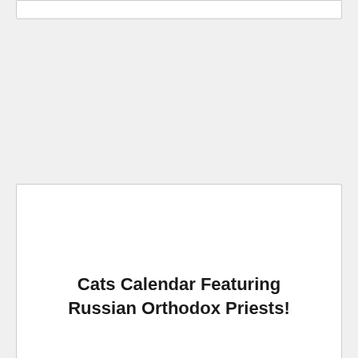Cats Calendar Featuring Russian Orthodox Priests!